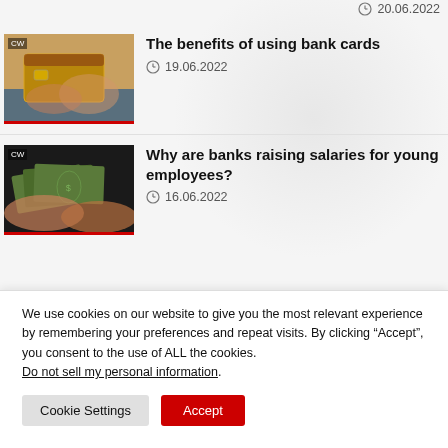20.06.2022
[Figure (photo): Hands holding bank cards over a table, partial view at top of page]
The benefits of using bank cards
19.06.2022
[Figure (photo): Hands holding and fanning out US dollar banknotes]
Why are banks raising salaries for young employees?
16.06.2022
We use cookies on our website to give you the most relevant experience by remembering your preferences and repeat visits. By clicking “Accept”, you consent to the use of ALL the cookies. Do not sell my personal information.